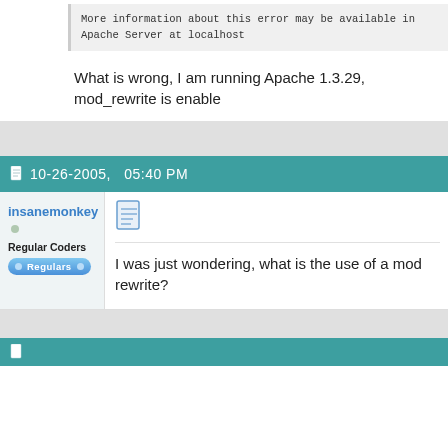More information about this error may be available in
Apache Server at localhost
What is wrong, I am running Apache 1.3.29, mod_rewrite is enable
10-26-2005,   05:40 PM
insanemonkey
Regular Coders
Regulars
I was just wondering, what is the use of a mod rewrite?